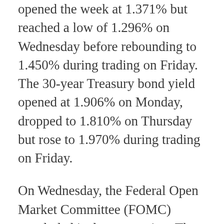opened the week at 1.371% but reached a low of 1.296% on Wednesday before rebounding to 1.450% during trading on Friday. The 30-year Treasury bond yield opened at 1.906% on Monday, dropped to 1.810% on Thursday but rose to 1.970% during trading on Friday.
On Wednesday, the Federal Open Market Committee (FOMC) concluded its latest meeting. The Fed did not make any changes to the federal funds rate, but indicated that such a change could be expected in the near future.
"The Committee seeks to achieve maximum employment and inflation at the rate of 2% over the longer run," stated the FOMC in its